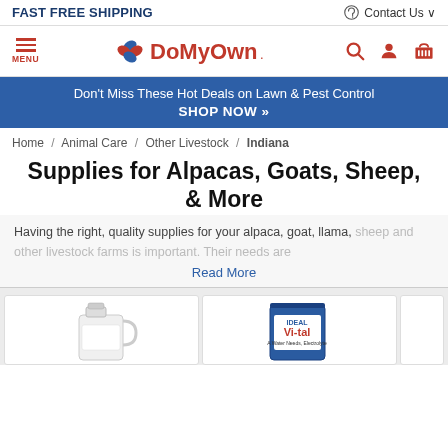FAST FREE SHIPPING   Contact Us
[Figure (logo): DoMyOwn logo with red/blue leaf icon and red text]
[Figure (infographic): Blue promotional banner: Don't Miss These Hot Deals on Lawn & Pest Control SHOP NOW »]
Home / Animal Care / Other Livestock / Indiana
Supplies for Alpacas, Goats, Sheep, & More
Having the right, quality supplies for your alpaca, goat, llama, sheep and other livestock farms is important. Their needs are
Read More
[Figure (photo): White plastic jug/gallon container product image]
[Figure (photo): Vi-tal product bag - blue packaging, water needs electrolyte supplement]